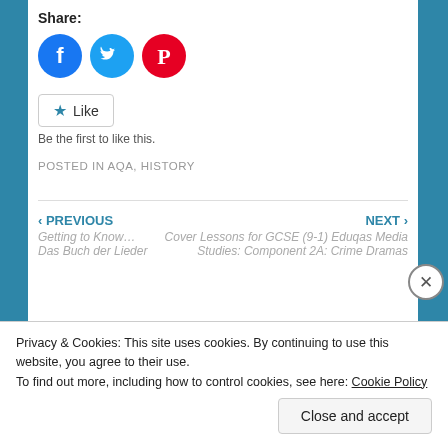Share:
[Figure (illustration): Three social media share buttons: Facebook (blue circle with 'f' icon), Twitter (light blue circle with bird icon), Pinterest (red circle with 'P' icon)]
Like
Be the first to like this.
POSTED IN AQA, HISTORY
‹ PREVIOUS
Getting to Know... Das Buch der Lieder
NEXT ›
Cover Lessons for GCSE (9-1) Eduqas Media Studies: Component 2A: Crime Dramas
Privacy & Cookies: This site uses cookies. By continuing to use this website, you agree to their use.
To find out more, including how to control cookies, see here: Cookie Policy
Close and accept